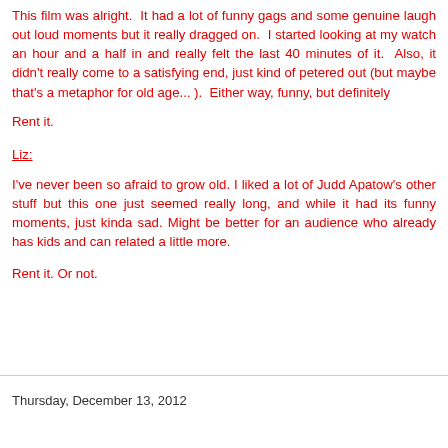This film was alright.  It had a lot of funny gags and some genuine laugh out loud moments but it really dragged on.  I started looking at my watch an hour and a half in and really felt the last 40 minutes of it.  Also, it didn't really come to a satisfying end, just kind of petered out (but maybe that's a metaphor for old age... ).  Either way, funny, but definitely
Rent it.
Liz:
I've never been so afraid to grow old. I liked a lot of Judd Apatow's other stuff but this one just seemed really long, and while it had its funny moments, just kinda sad. Might be better for an audience who already has kids and can related a little more.
Rent it. Or not.
Thursday, December 13, 2012